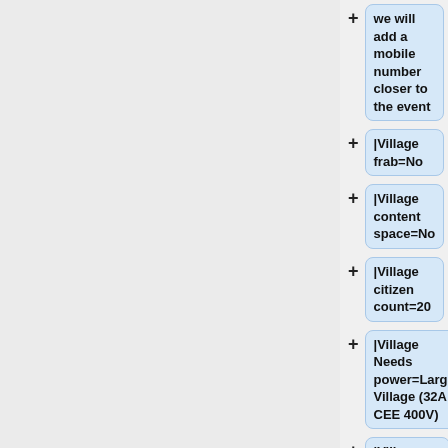+ we will add a mobile number closer to the event
+ |Village frab=No
+ |Village content space=No
+ |Village citizen count=20
+ |Village Needs power=Large Village (32A CEE 400V)
+ |Village size needed=50
+ |Village sleepingtents num=0